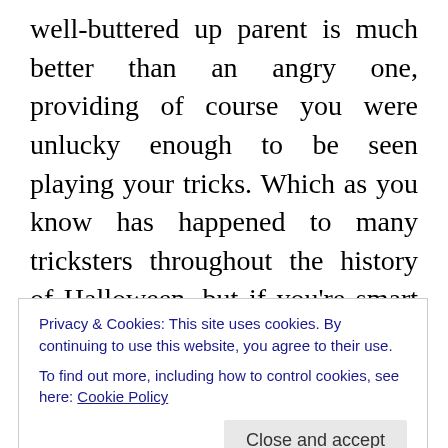well-buttered up parent is much better than an angry one, providing of course you were unlucky enough to be seen playing your tricks. Which as you know has happened to many tricksters throughout the history of Halloween, but if you're smart you always have a back-up plan. Oh yes the back-up plan or should I say the “huh, I don’t know what you’re talking about it must have been (fill in the blank)” plan. Works every time, well every time that is that you are not caught red handed or you have trouble with that whiney ankle biter turned squealer. Now I would never tell on any of my fellow or former trick or treat crew, but I will
Privacy & Cookies: This site uses cookies. By continuing to use this website, you agree to their use.
To find out more, including how to control cookies, see here: Cookie Policy
So to you my family and friends and friends of family,